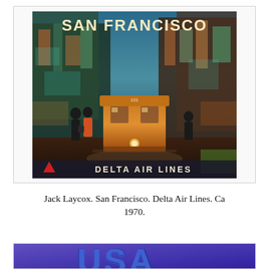[Figure (illustration): Vintage travel poster: San Francisco by Jack Laycox for Delta Air Lines ca 1970. Shows a cable car on a city street with pedestrians in an impressionistic painted style. Text 'SAN FRANCISCO' at top in cream letters and 'DELTA AIR LINES' with Delta triangle logo at bottom.]
Jack Laycox. San Francisco. Delta Air Lines. Ca 1970.
[Figure (illustration): Partial view of another vintage travel poster showing 'USA' text in block letters on a purple/blue background — only the top portion is visible.]